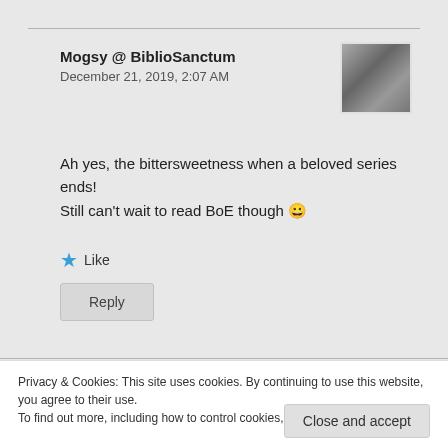Mogsy @ BiblioSanctum
December 21, 2019, 2:07 AM
[Figure (photo): Avatar photo thumbnail showing abstract grayscale cables or wires texture]
Ah yes, the bittersweetness when a beloved series ends! Still can't wait to read BoE though 😀
★ Like
Reply
Privacy & Cookies: This site uses cookies. By continuing to use this website, you agree to their use.
To find out more, including how to control cookies, see here: Cookie Policy
Close and accept